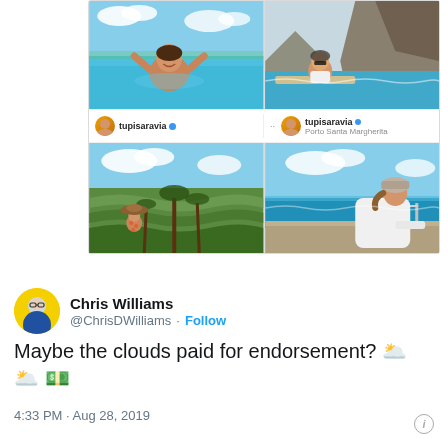[Figure (screenshot): Instagram-style photo grid showing two rows of travel photos by user 'tupisaravia'. Top-left: woman smiling in turquoise ocean water. Top-right: woman sitting on a boat near rocky cliffs with sunglasses on. Account labels 'tupisaravia' with blue verified dot appear between rows. Bottom-left: woman in hat walking through green tropical terraced fields. Bottom-right: woman in white outfit and hat looking out to sea.]
Chris Williams
@ChrisDWilliams · Follow
Maybe the clouds paid for endorsement? 🌥️ 🌥️ 💵
4:33 PM · Aug 28, 2019